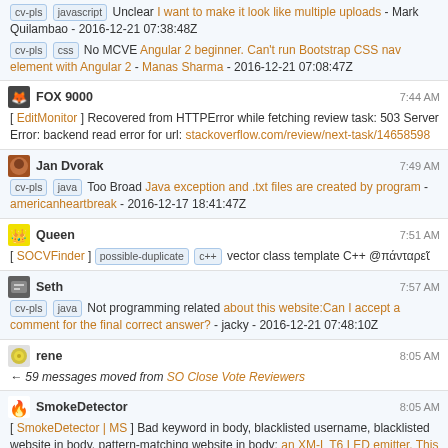[cv-pls] [javascript] Unclear I want to make it look like multiple uploads - Mark Quilambao - 2016-12-21 07:38:48Z
[cv-pls] [css] No MCVE Angular 2 beginner. Can't run Bootstrap CSS nav element with Angular 2 - Manas Sharma - 2016-12-21 07:08:47Z
FOX 9000 7:44 AM [ EditMonitor ] Recovered from HTTPError while fetching review task: 503 Server Error: backend read error for url: stackoverflow.com/review/next-task/14658598
Jan Dvorak 7:49 AM [cv-pls] [java] Too Broad Java exception and .txt files are created by program - americanheartbreak - 2016-12-17 18:41:47Z
Queen 7:51 AM [ SOCVFinder ] possible-duplicate c++ vector class template C++ @πάνταρεῖ
Seth 7:57 AM [cv-pls] [java] Not programming related about this website:Can I accept a comment for the final correct answer? - jacky - 2016-12-21 07:48:10Z
rene 8:05 AM ← 59 messages moved from SO Close Vote Reviewers
SmokeDetector 8:05 AM [ SmokeDetector | MS ] Bad keyword in body, blacklisted username, blacklisted website in body, pattern-matching website in body: an XM-L T6 LED emitter. This emitter outputs by giyuwajuriya on stackoverflow.com
Queen 8:11 AM [ SOCVFinder ] possible-duplicate c++ stl What does the STL map[key] return if the